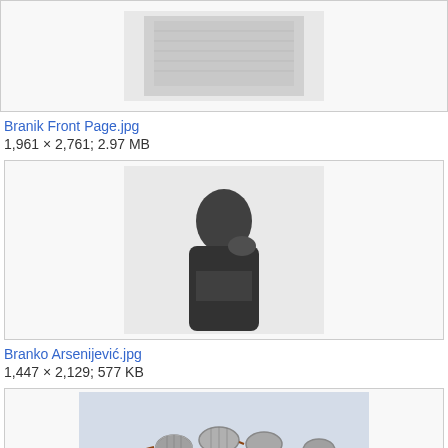[Figure (photo): Partially visible image of a document/front page, cropped at top]
Branik Front Page.jpg
1,961 × 2,761; 2.97 MB
[Figure (photo): Black and white portrait photograph of a young man (Branko Arsenijević), looking downward, wearing dark clothing]
Branko Arsenijević.jpg
1,447 × 2,129; 577 KB
[Figure (photo): Color photograph of decorative metal beads or jewelry pieces with reddish cord/string, partially visible]